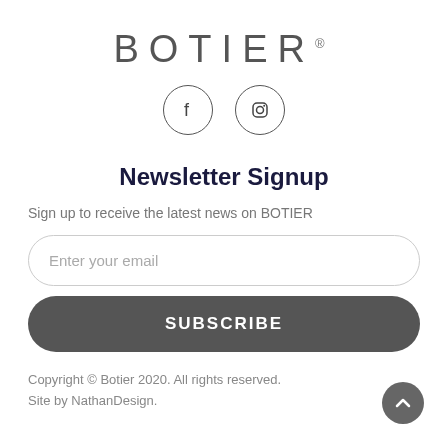[Figure (logo): BOTIER logo in spaced gray capital letters with registered trademark symbol]
[Figure (illustration): Two circular social media icons: Facebook (f) and Instagram (camera icon)]
Newsletter Signup
Sign up to receive the latest news on BOTIER
Enter your email
SUBSCRIBE
Copyright © Botier 2020. All rights reserved. Site by NathanDesign.